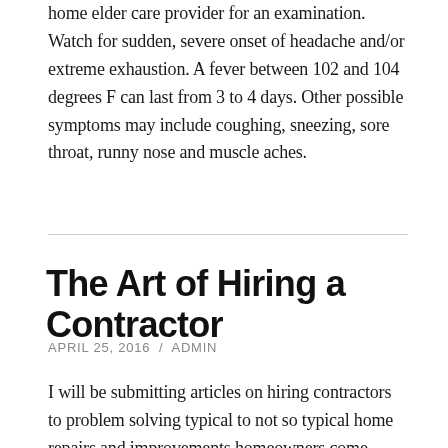home elder care provider for an examination. Watch for sudden, severe onset of headache and/or extreme exhaustion. A fever between 102 and 104 degrees F can last from 3 to 4 days. Other possible symptoms may include coughing, sneezing, sore throat, runny nose and muscle aches.
The Art of Hiring a Contractor
APRIL 25, 2016 / ADMIN
I will be submitting articles on hiring contractors to problem solving typical to not so typical home repairs and improvements homeowners come across. If you have questions, please feel free to submit to this article and I